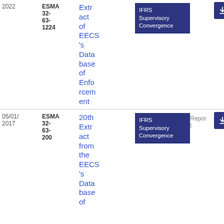| Date | Reference | Title | Tag | Type | File |
| --- | --- | --- | --- | --- | --- |
| 2022 | ESMA 32-63-1224 | Extract of EECS's Database of Enforcement | IFRS Supervisory Convergence |  | PDF
56
9.85 KB |
| 05/01/2017 | ESMA 32-63-200 | 20th Extract from the EECS's Database of | IFRS Supervisory Convergence | Report | PDF
49
8.99 KB |